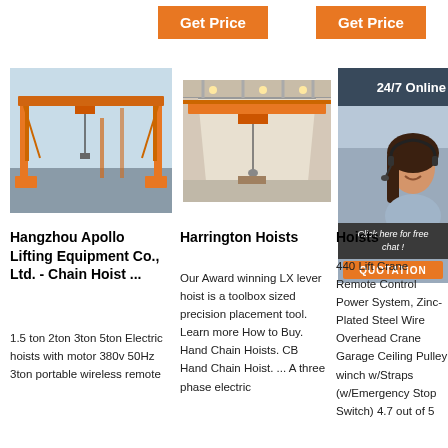[Figure (other): Orange 'Get Price' button (left)]
[Figure (other): Orange 'Get Price' button (right)]
[Figure (photo): Photo of orange gantry crane outdoors at construction site]
[Figure (photo): Photo of overhead bridge crane inside industrial warehouse]
[Figure (photo): Photo of warehouse with crane and 24/7 Online chat overlay with woman wearing headset, 'Click here for free chat!' and QUOTATION button]
Hangzhou Apollo Lifting Equipment Co., Ltd. - Chain Hoist ...
1.5 ton 2ton 3ton 5ton Electric hoists with motor 380v 50Hz 3ton portable wireless remote
Harrington Hoists
Our Award winning LX lever hoist is a toolbox sized precision placement tool. Learn more How to Buy. Hand Chain Hoists. CB Hand Chain Hoist. ... A three phase electric
Hoists
440 Lift Crane Remote Control Power System, Zinc-Plated Steel Wire Overhead Crane Garage Ceiling Pulley winch w/Straps (w/Emergency Stop Switch) 4.7 out of 5